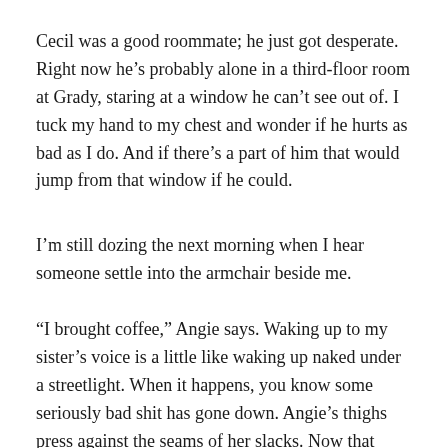Cecil was a good roommate; he just got desperate. Right now he’s probably alone in a third-floor room at Grady, staring at a window he can’t see out of. I tuck my hand to my chest and wonder if he hurts as bad as I do. And if there’s a part of him that would jump from that window if he could.
I’m still dozing the next morning when I hear someone settle into the armchair beside me.
“I brought coffee,” Angie says. Waking up to my sister’s voice is a little like waking up naked under a streetlight. When it happens, you know some seriously bad shit has gone down. Angie’s thighs press against the seams of her slacks. Now that she’s